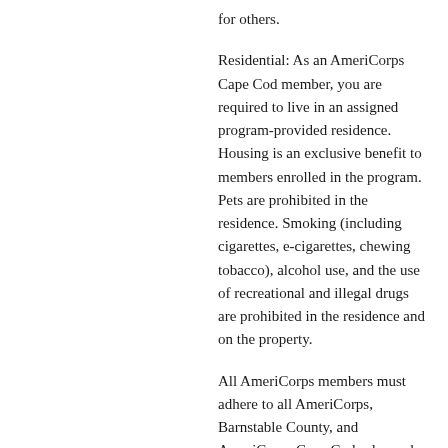for others.
Residential: As an AmeriCorps Cape Cod member, you are required to live in an assigned program-provided residence. Housing is an exclusive benefit to members enrolled in the program. Pets are prohibited in the residence. Smoking (including cigarettes, e-cigarettes, chewing tobacco), alcohol use, and the use of recreational and illegal drugs are prohibited in the residence and on the property.
All AmeriCorps members must adhere to all AmeriCorps, Barnstable County, and AmeriCorps Cape Cod rules and regulations including following all standards set by AmeriCorps the